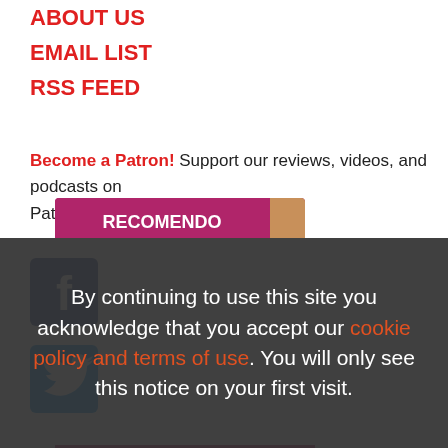ABOUT US
EMAIL LIST
RSS FEED
Become a Patron! Support our reviews, videos, and podcasts on Patreon!
[Figure (logo): Facebook logo icon — blue square with white 'f' letter]
[Figure (logo): Twitter logo icon — blue square with white bird silhouette]
[Figure (photo): Book cover: RECOMENDO THE EXPANDED EDITION]
By continuing to use this site you acknowledge that you accept our cookie policy and terms of use. You will only see this notice on your first visit.